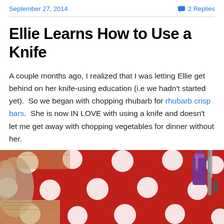September 27, 2014   2 Replies
Ellie Learns How to Use a Knife
A couple months ago, I realized that I was letting Ellie get behind on her knife-using education (i.e we hadn't started yet).  So we began with chopping rhubarb for rhubarb crisp bars.  She is now IN LOVE with using a knife and doesn't let me get away with chopping vegetables for dinner without her.
[Figure (photo): Photo of a red polka-dot tablecloth with a purple water bottle and kitchen utensils visible, taken from above at a kitchen table.]